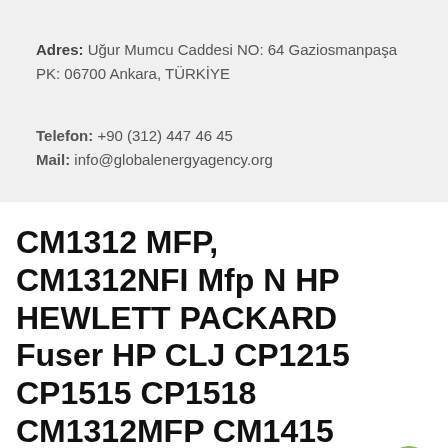Adres: Uğur Mumcu Caddesi NO: 64 Gaziosmanpaşa PK: 06700 Ankara, TÜRKİYE
Telefon: +90 (312) 447 46 45
Mail: info@globalenergyagency.org
CM1312 MFP, CM1312NFI Mfp N HP HEWLETT PACKARD Fuser HP CLJ CP1215 CP1515 CP1518 CM1312MFP CM1415 110V RM1-4430-000CN